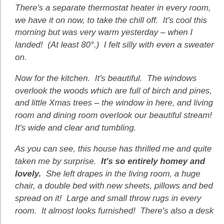There's a separate thermostat heater in every room, we have it on now, to take the chill off.  It's cool this morning but was very warm yesterday – when I landed!  (At least 80°.)  I felt silly with even a sweater on.
Now for the kitchen.  It's beautiful.  The windows overlook the woods which are full of birch and pines, and little Xmas trees – the window in here, and living room and dining room overlook our beautiful stream!  It's wide and clear and tumbling.
As you can see, this house has thrilled me and quite taken me by surprise.  It's so entirely homey and lovely.  She left drapes in the living room, a huge chair, a double bed with new sheets, pillows and bed spread on it!  Large and small throw rugs in every room.  It almost looks furnished!  There's also a desk